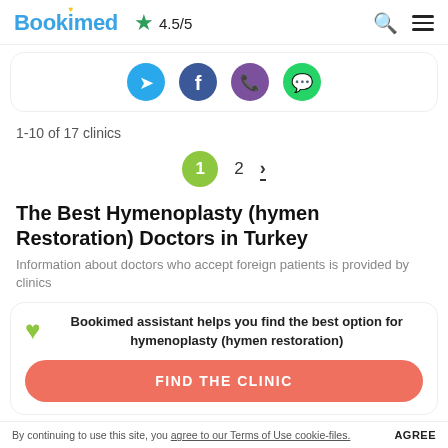Bookimed ★ 4.5/5
[Figure (other): Social sharing icons row: Telegram, Facebook, Viber, WhatsApp]
1-10 of 17 clinics
Pagination: 1 (active), 2, >
The Best Hymenoplasty (hymen Restoration) Doctors in Turkey
Information about doctors who accept foreign patients is provided by clinics
Bookimed assistant helps you find the best option for hymenoplasty (hymen restoration)
FIND THE CLINIC
By continuing to use this site, you agree to our Terms of Use cookie-files. AGREE